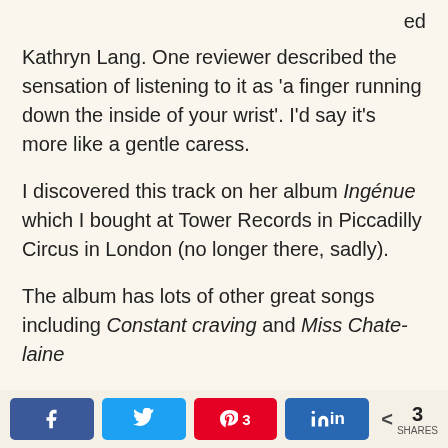ed Kathryn Lang. One reviewer described the sensation of listening to it as 'a finger running down the inside of your wrist'. I'd say it's more like a gentle caress.
I discovered this track on her album Ingénue which I bought at Tower Records in Piccadilly Circus in London (no longer there, sadly).
The album has lots of other great songs including Constant craving and Miss Chatelaine...